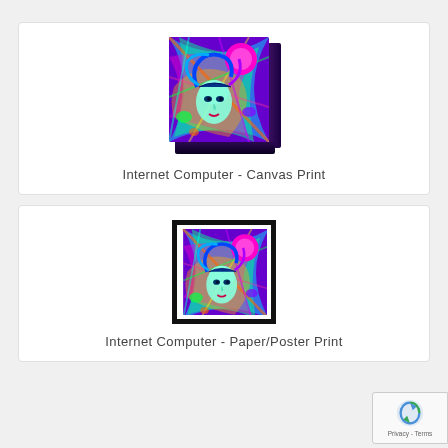[Figure (illustration): Canvas print product image showing psychedelic art with a woman's face surrounded by swirling colorful patterns and a pink sun/circle, displayed as a stretched canvas with visible side depth]
Internet Computer - Canvas Print
[Figure (illustration): Paper/poster print product image showing the same psychedelic art with a woman's face and swirling colors, displayed in a black frame with white mat border]
Internet Computer - Paper/Poster Print